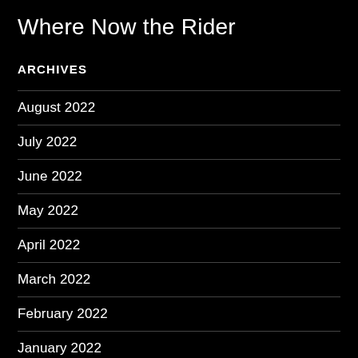Where Now the Rider
ARCHIVES
August 2022
July 2022
June 2022
May 2022
April 2022
March 2022
February 2022
January 2022
December 2021